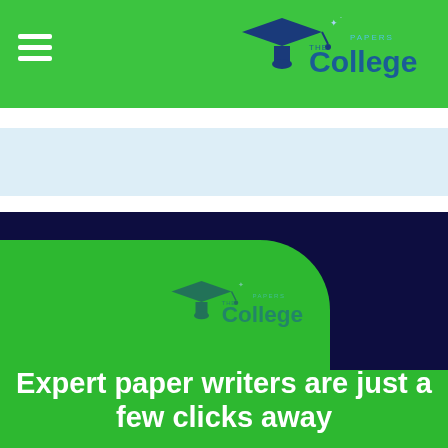The College Papers — navigation header with logo
[Figure (logo): The College Papers logo with graduation cap icon, 'THE College PAPERS' text in blue and teal on green background]
[Figure (logo): The College Papers logo (smaller, semi-transparent) centered on green card area]
Expert paper writers are just a few clicks away